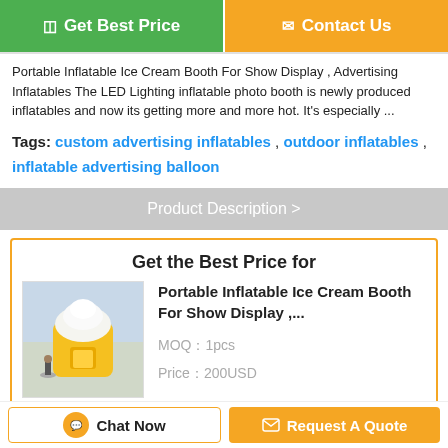Get Best Price | Contact Us
Portable Inflatable Ice Cream Booth For Show Display , Advertising Inflatables The LED Lighting inflatable photo booth is newly produced inflatables and now its getting more and more hot. It's especially ...
Tags: custom advertising inflatables , outdoor inflatables , inflatable advertising balloon
Product Description >
Get the Best Price for
[Figure (photo): Inflatable ice cream booth product photo - yellow inflatable booth shaped like an ice cream]
Portable Inflatable Ice Cream Booth For Show Display ,...
MOQ：1pcs
Price：200USD
Continue
Chat Now | Request A Quote